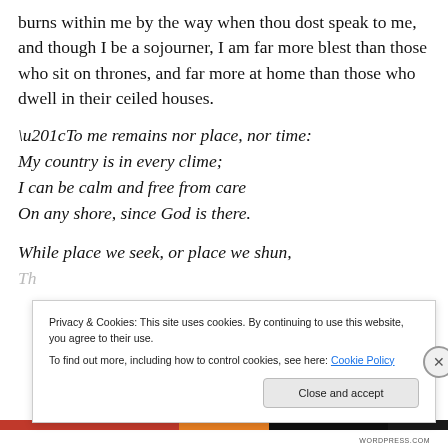burns within me by the way when thou dost speak to me, and though I be a sojourner, I am far more blest than those who sit on thrones, and far more at home than those who dwell in their ceiled houses.
“To me remains nor place, nor time:
My country is in every clime;
I can be calm and free from care
On any shore, since God is there.

While place we seek, or place we shun,
[Figure (screenshot): Cookie consent banner: 'Privacy & Cookies: This site uses cookies. By continuing to use this website, you agree to their use. To find out more, including how to control cookies, see here: Cookie Policy' with a 'Close and accept' button and an X close button.]